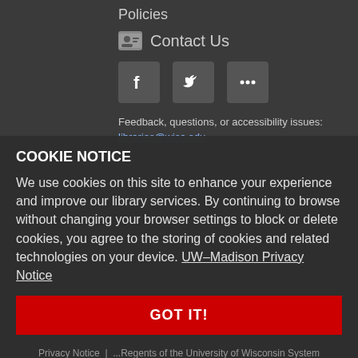Policies
Contact Us
[Figure (other): Social media icons: Facebook, Twitter, and more (ellipsis)]
Feedback, questions, or accessibility issues:
libraries@wisc.edu
COOKIE NOTICE
We use cookies on this site to enhance your experience and improve our library services. By continuing to browse without changing your browser settings to block or delete cookies, you agree to the storing of cookies and related technologies on your device. UW–Madison Privacy Notice
GOT IT!
Privacy Notice  |  ... Regents of the University of Wisconsin System